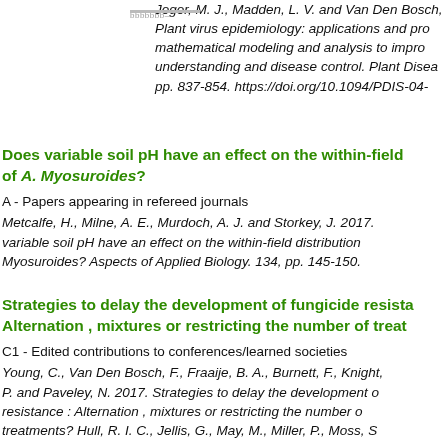Jeger, M. J., Madden, L. V. and Van Den Bosch, Plant virus epidemiology: applications and pro mathematical modeling and analysis to impro understanding and disease control. Plant Disea pp. 837-854. https://doi.org/10.1094/PDIS-04-
Does variable soil pH have an effect on the within-field of A. Myosuroides?
A - Papers appearing in refereed journals
Metcalfe, H., Milne, A. E., Murdoch, A. J. and Storkey, J. 2017. variable soil pH have an effect on the within-field distribution Myosuroides? Aspects of Applied Biology. 134, pp. 145-150.
Strategies to delay the development of fungicide resista Alternation , mixtures or restricting the number of treat
C1 - Edited contributions to conferences/learned societies
Young, C., Van Den Bosch, F., Fraaije, B. A., Burnett, F., Knight, P. and Paveley, N. 2017. Strategies to delay the development o resistance : Alternation , mixtures or restricting the number o treatments? Hull, R. I. C., Jellis, G., May, M., Miller, P., Moss, S